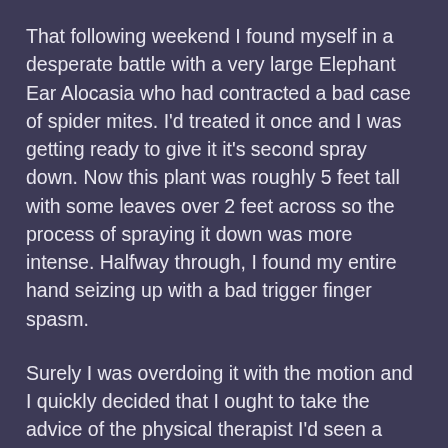That following weekend I found myself in a desperate battle with a very large Elephant Ear Alocasia who had contracted a bad case of spider mites. I'd treated it once and I was getting ready to give it it's second spray down. Now this plant was roughly 5 feet tall with some leaves over 2 feet across so the process of spraying it down was more intense. Halfway through, I found my entire hand seizing up with a bad trigger finger spasm.
Surely I was overdoing it with the motion and I quickly decided that I ought to take the advice of the physical therapist I'd seen a month or so prior and really commit to doing more strengthening exercises.
I went over some specific stretches for my hands to help alleviate the trigger finger and strengthen those smaller muscles in my hand – this made sense with the spasm and with the previous tension I'd been starting to feel in